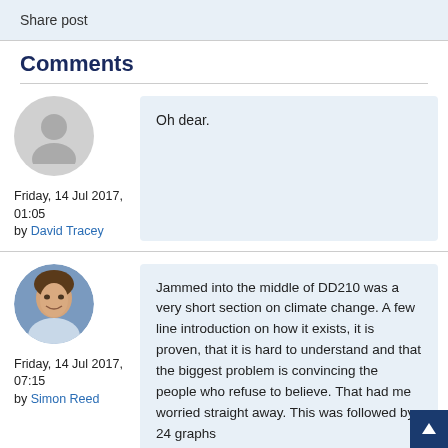Share post
Comments
Oh dear.
Friday, 14 Jul 2017, 01:05
by David Tracey
Jammed into the middle of DD210 was a very short section on climate change.  A few line introduction on how it exists, it is proven, that it is hard to understand and that the biggest problem is convincing the people who refuse to believe.  That had me worried straight away.  This was followed by 24 graphs
Friday, 14 Jul 2017, 07:15
by Simon Reed